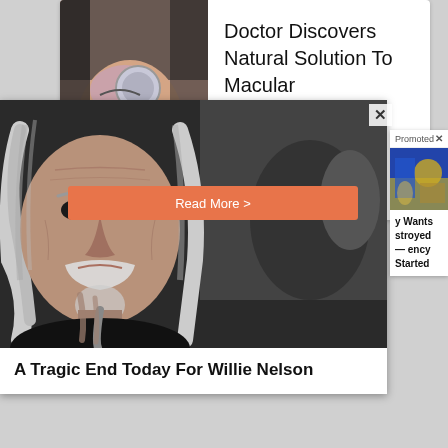[Figure (screenshot): Screenshot of a web advertisement showing 'Doctor Discovers Natural Solution To Macular Degeneration (Watch)' with an image of a person near an eye examining device, sourced from VisNow with a Read More button]
[Figure (photo): Popup overlay showing a close-up photo of an elderly man with long gray hair and a white beard, looking at the camera]
A Tragic End Today For Willie Nelson
Promoted X
[Figure (photo): Partial thumbnail image of a sports scene with blue and yellow colors]
y Wants stroyed — ency Started